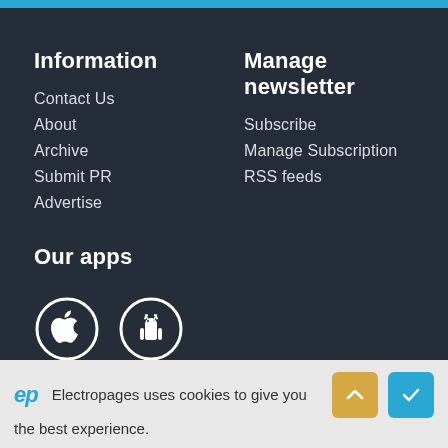Information
Contact Us
About
Archive
Submit PR
Advertise
Manage newsletter
Subscribe
Manage Subscription
RSS feeds
Our apps
[Figure (illustration): Apple App Store and Android Google Play app icon circles in white outline on dark background]
Social profiles
Electropages uses cookies to give you the best experience.